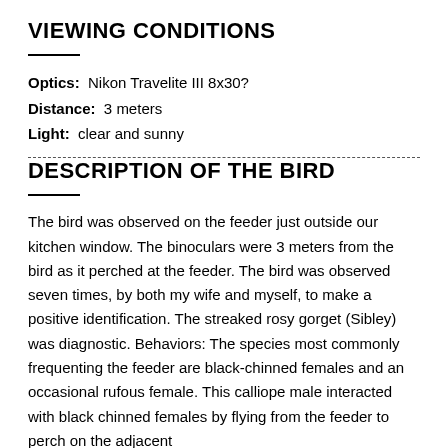VIEWING CONDITIONS
Optics:  Nikon Travelite III 8x30?
Distance:  3 meters
Light:  clear and sunny
DESCRIPTION OF THE BIRD
The bird was observed on the feeder just outside our kitchen window. The binoculars were 3 meters from the bird as it perched at the feeder. The bird was observed seven times, by both my wife and myself, to make a positive identification. The streaked rosy gorget (Sibley) was diagnostic. Behaviors: The species most commonly frequenting the feeder are black-chinned females and an occasional rufous female. This calliope male interacted with black chinned females by flying from the feeder to perch on the adjacent